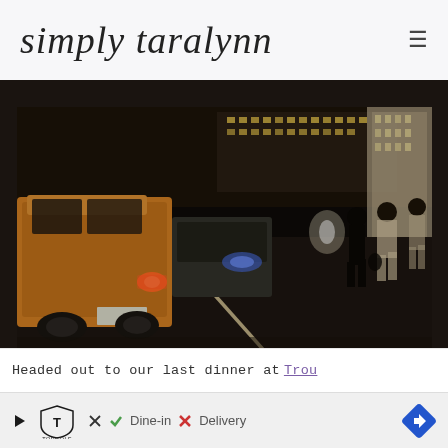simply taralynn
[Figure (photo): Night street scene with yellow taxi/van on left, people walking on sidewalk, city buildings lit up in background, dark urban atmosphere]
Headed out to our last dinner at Trou
[Figure (other): Advertisement banner: TopGolf logo with checkmark Dine-in and X Delivery, navigation arrow icon on right]